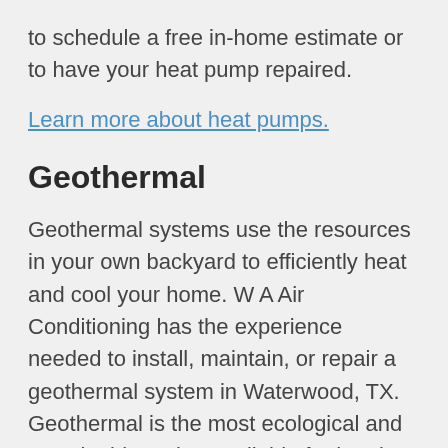to schedule a free in-home estimate or to have your heat pump repaired.
Learn more about heat pumps.
Geothermal
Geothermal systems use the resources in your own backyard to efficiently heat and cool your home. W A Air Conditioning has the experience needed to install, maintain, or repair a geothermal system in Waterwood, TX. Geothermal is the most ecological and sustainable option available for heating and cooling a home.